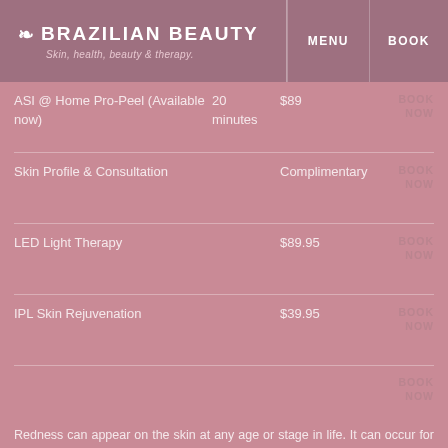BRAZILIAN BEAUTY — Skin, health, beauty & therapy. | MENU | BOOK
| Service | Duration | Price | Action |
| --- | --- | --- | --- |
| ASI @ Home Pro-Peel (Available now) | 20 minutes | $89 | BOOK NOW |
| Skin Profile & Consultation |  | Complimentary | BOOK NOW |
| LED Light Therapy |  | $89.95 | BOOK NOW |
| IPL Skin Rejuvenation |  | $39.95 | BOOK NOW |
|  |  |  | BOOK NOW |
Redness can appear on the skin at any age or stage in life. It can occur for a multiple of reasons and is almost always a result of an abnormal